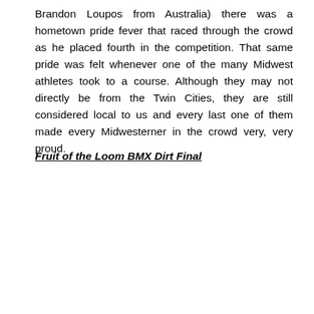Brandon Loupos from Australia) there was a hometown pride fever that raced through the crowd as he placed fourth in the competition. That same pride was felt whenever one of the many Midwest athletes took to a course. Although they may not directly be from the Twin Cities, they are still considered local to us and every last one of them made every Midwesterner in the crowd very, very proud.
Fruit of the Loom BMX Dirt Final